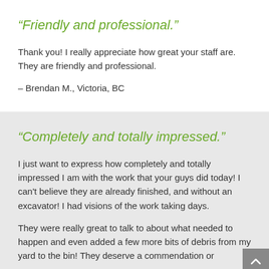“Friendly and professional.”
Thank you! I really appreciate how great your staff are. They are friendly and professional.
– Brendan M., Victoria, BC
“Completely and totally impressed.”
I just want to express how completely and totally impressed I am with the work that your guys did today! I can't believe they are already finished, and without an excavator! I had visions of the work taking days.
They were really great to talk to about what needed to happen and even added a few more bits of debris from my yard to the bin! They deserve a commendation or